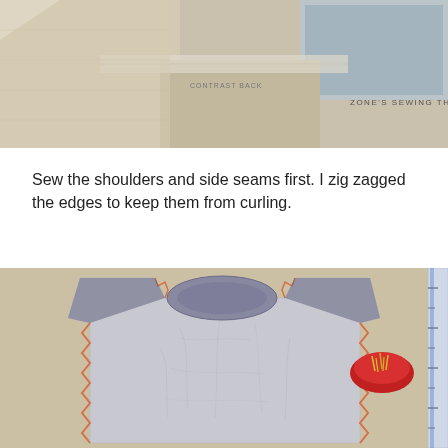[Figure (photo): Fabric pieces laid out flat on a surface showing sewing pattern pieces. Text 'ZONE'S SEWING THERAPY' visible in lower right area of image.]
Sew the shoulders and side seams first. I zig zagged the edges to keep them from curling.
[Figure (photo): A sewn sleeveless t-shirt top laid flat on a beige surface, with zigzag-stitched edges visible in orange/pink. A red pin cushion with pins is visible to the right, and a ruler is partially visible at the far right edge.]